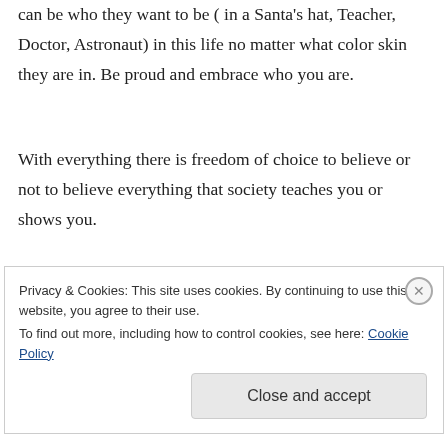can be who they want to be ( in a Santa's hat, Teacher, Doctor, Astronaut) in this life no matter what color skin they are in. Be proud and embrace who you are.
With everything there is freedom of choice to believe or not to believe everything that society teaches you or shows you.
All you see in life is not what life is truly about. Never believe what is popular belief always verify and seek the truth.
Privacy & Cookies: This site uses cookies. By continuing to use this website, you agree to their use.
To find out more, including how to control cookies, see here: Cookie Policy
Close and accept